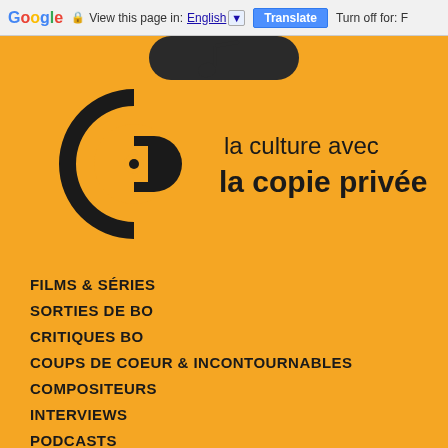Google  View this page in: English ▼  Translate  Turn off for: F
[Figure (logo): La culture avec la copie privée logo — circular CD/copyright symbol with text 'la culture avec la copie privée' on orange background, with a musical note tab at top]
FILMS & SÉRIES
SORTIES DE BO
CRITIQUES BO
COUPS DE COEUR & INCONTOURNABLES
COMPOSITEURS
INTERVIEWS
PODCASTS